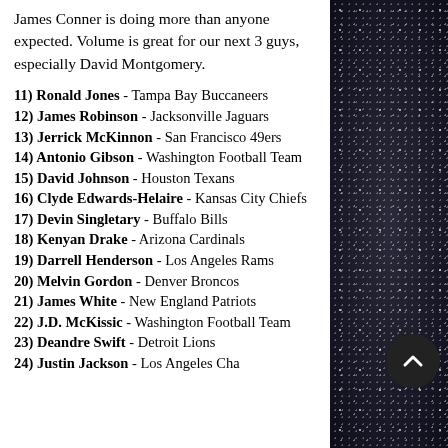James Conner is doing more than anyone expected. Volume is great for our next 3 guys, especially David Montgomery.
11) Ronald Jones - Tampa Bay Buccaneers
12) James Robinson - Jacksonville Jaguars
13) Jerrick McKinnon - San Francisco 49ers
14) Antonio Gibson - Washington Football Team
15) David Johnson - Houston Texans
16) Clyde Edwards-Helaire - Kansas City Chiefs
17) Devin Singletary - Buffalo Bills
18) Kenyan Drake - Arizona Cardinals
19) Darrell Henderson - Los Angeles Rams
20) Melvin Gordon - Denver Broncos
21) James White - New England Patriots
22) J.D. McKissic - Washington Football Team
23) Deandre Swift - Detroit Lions
24) Justin Jackson - Los Angeles Chargers